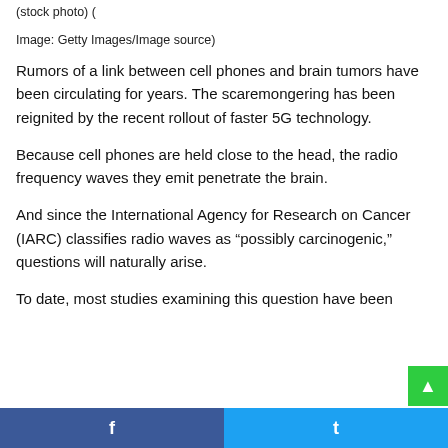(stock photo) (
Image: Getty Images/Image source)
Rumors of a link between cell phones and brain tumors have been circulating for years. The scaremongering has been reignited by the recent rollout of faster 5G technology.
Because cell phones are held close to the head, the radio frequency waves they emit penetrate the brain.
And since the International Agency for Research on Cancer (IARC) classifies radio waves as “possibly carcinogenic,” questions will naturally arise.
To date, most studies examining this question have been
Facebook | Twitter